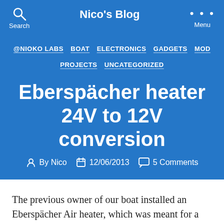Nico's Blog
@NIOKO LABS  BOAT  ELECTRONICS  GADGETS  MOD PROJECTS  UNCATEGORIZED
Eberspächer heater 24V to 12V conversion
By Nico  12/06/2013  5 Comments
The previous owner of our boat installed an Eberspächer Air heater, which was meant for a lorry, and therefore